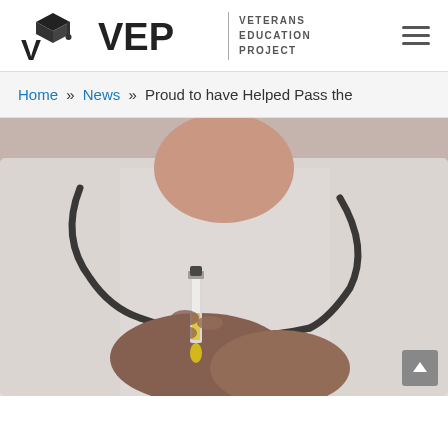VEP | Veterans Education Project — navigation header with hamburger menu
Home » News » Proud to have Helped Pass the
[Figure (photo): Close-up photo of a medical professional in a white coat with a stethoscope holding a syringe/vial with yellow liquid]